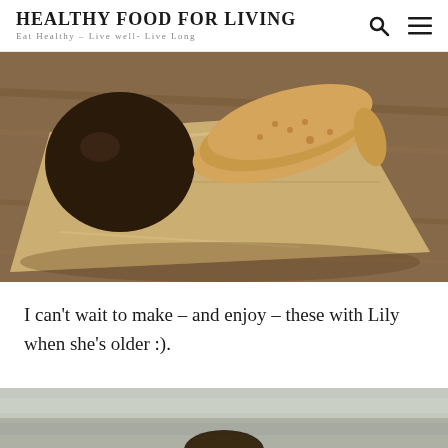HEALTHY FOOD FOR LIVING
Eat Healthy - Live well- Live Long
[Figure (photo): Close-up photo of chocolate-dipped cookies/biscuits on brown parchment paper on a wooden surface]
I can't wait to make – and enjoy – these with Lily when she's older :).
[Figure (photo): Blurred/bokeh photo of food items, partially visible at bottom of page]